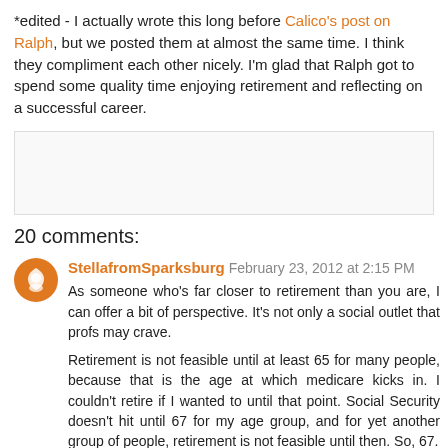*edited - I actually wrote this long before Calico's post on Ralph, but we posted them at almost the same time. I think they compliment each other nicely. I'm glad that Ralph got to spend some quality time enjoying retirement and reflecting on a successful career.
20 comments:
StellafromSparksburg  February 23, 2012 at 2:15 PM
As someone who's far closer to retirement than you are, I can offer a bit of perspective. It's not only a social outlet that profs may crave.

Retirement is not feasible until at least 65 for many people, because that is the age at which medicare kicks in. I couldn't retire if I wanted to until that point. Social Security doesn't hit until 67 for my age group, and for yet another group of people, retirement is not feasible until then. So, 67.